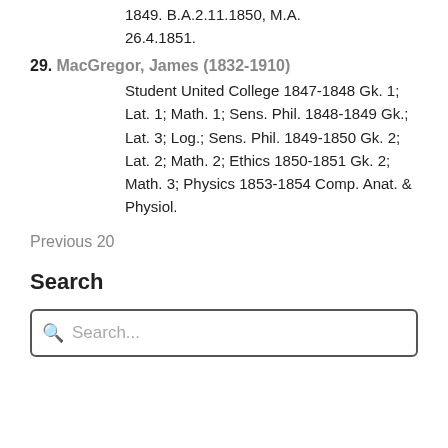1849. B.A.2.11.1850, M.A. 26.4.1851.
29. MacGregor, James (1832-1910) Student United College 1847-1848 Gk. 1; Lat. 1; Math. 1; Sens. Phil. 1848-1849 Gk.; Lat. 3; Log.; Sens. Phil. 1849-1850 Gk. 2; Lat. 2; Math. 2; Ethics 1850-1851 Gk. 2; Math. 3; Physics 1853-1854 Comp. Anat. & Physiol.
Previous 20
Search
Search...